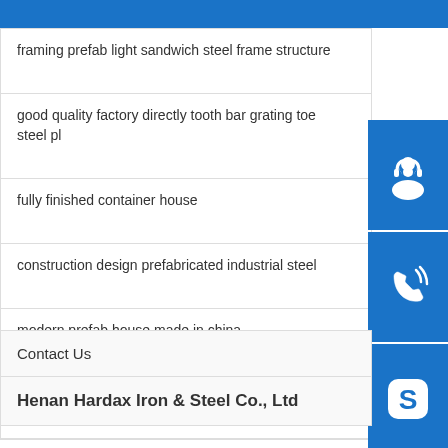framing prefab light sandwich steel frame structure
good quality factory directly tooth bar grating toe steel pl
fully finished container house
construction design prefabricated industrial steel
modern prefab house made in china
low price pre engineered structural steel structur
Contact Us
Henan Hardax Iron & Steel Co., Ltd